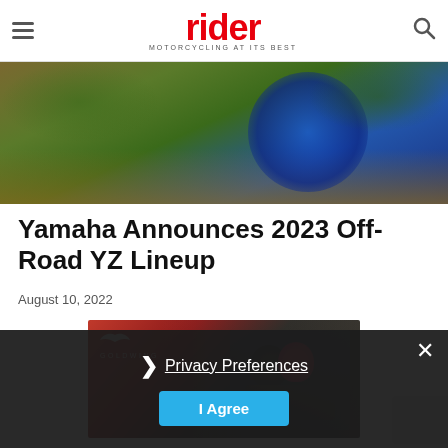rider MOTORCYCLING AT ITS BEST
[Figure (photo): Off-road motorcycle rider on a dirt trail through forest, blue Yamaha YZ bike with rider in full gear]
Yamaha Announces 2023 Off-Road YZ Lineup
August 10, 2022
[Figure (photo): Honda Gold Wing advertisement banner showing two helmeted riders on a motorcycle against a rocky cliff background]
Privacy Preferences
I Agree